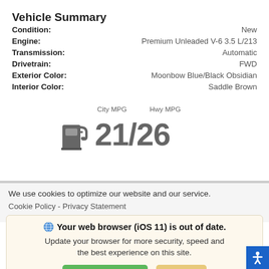Vehicle Summary
| Field | Value |
| --- | --- |
| Condition: | New |
| Engine: | Premium Unleaded V-6 3.5 L/213 |
| Transmission: | Automatic |
| Drivetrain: | FWD |
| Exterior Color: | Moonbow Blue/Black Obsidian |
| Interior Color: | Saddle Brown |
[Figure (infographic): Fuel pump icon with City MPG and Hwy MPG labels showing 21/26]
We use cookies to optimize our website and our service.
Cookie Policy -  Privacy Statement
Your web browser (iOS 11) is out of date.
Update your browser for more security, speed and the best experience on this site.